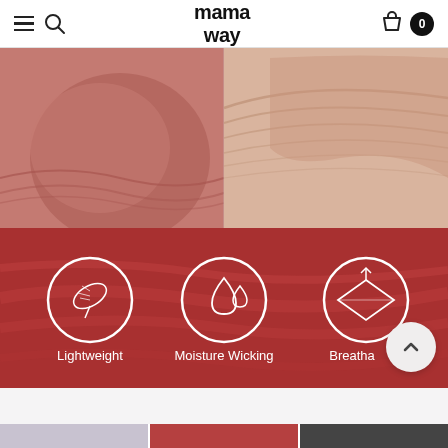mama way
[Figure (photo): Split image showing maternity underwear: left side shows mauve/dusty rose fabric with pregnancy belly, right side shows beige/nude underwear illustration with waistband detail curves]
[Figure (infographic): Red textile background with three white circle icons and labels: Lightweight (feather icon), Moisture Wicking (water drops icon), Breathable (ventilation/diamond icon). Scroll-up button visible at bottom right.]
[Figure (photo): Bottom strip showing three maternity shorts/underwear in different colors: light lavender/grey, red/rust, and dark charcoal/black]